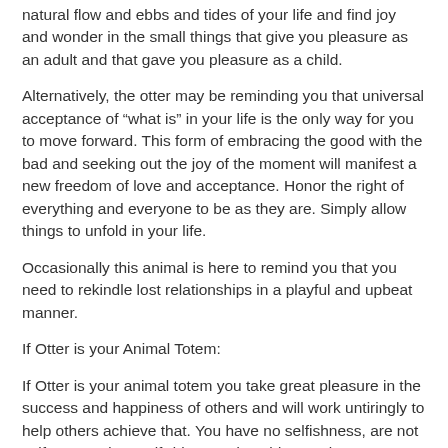natural flow and ebbs and tides of your life and find joy and wonder in the small things that give you pleasure as an adult and that gave you pleasure as a child.
Alternatively, the otter may be reminding you that universal acceptance of “what is” in your life is the only way for you to move forward. This form of embracing the good with the bad and seeking out the joy of the moment will manifest a new freedom of love and acceptance. Honor the right of everything and everyone to be as they are. Simply allow things to unfold in your life.
Occasionally this animal is here to remind you that you need to rekindle lost relationships in a playful and upbeat manner.
If Otter is your Animal Totem:
If Otter is your animal totem you take great pleasure in the success and happiness of others and will work untiringly to help others achieve that. You have no selfishness, are not self-centered, or self-driven and could never be mean to others. You are never unnecessarily critical in a vengeful way